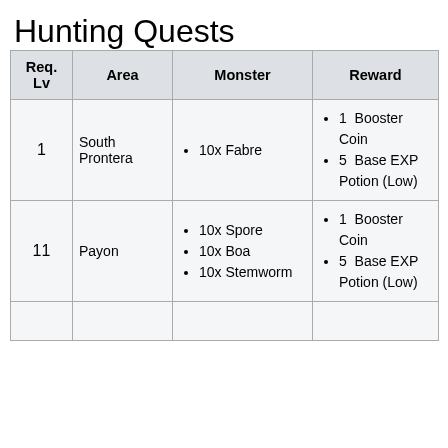Hunting Quests
| Req. Lv | Area | Monster | Reward |
| --- | --- | --- | --- |
| 1 | South Prontera | 10x Fabre | 1 Booster Coin
5 Base EXP Potion (Low) |
| 11 | Payon | 10x Spore
10x Boa
10x Stemworm | 1 Booster Coin
5 Base EXP Potion (Low) |
|  |  |  |  |